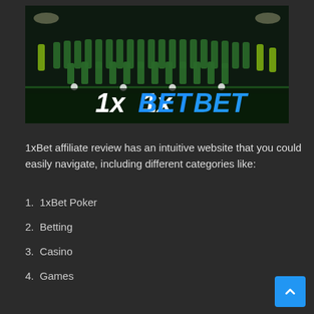[Figure (photo): A soccer team group photo at night on a green field. Players wearing green and yellow-green uniforms arranged in rows. A large 1xBET logo is visible at the bottom of the image with '1x' in white italic and 'BET' in blue italic lettering.]
1xBet affiliate review has an intuitive website that you could easily navigate, including different categories like:
1. 1xBet Poker
2. Betting
3. Casino
4. Games